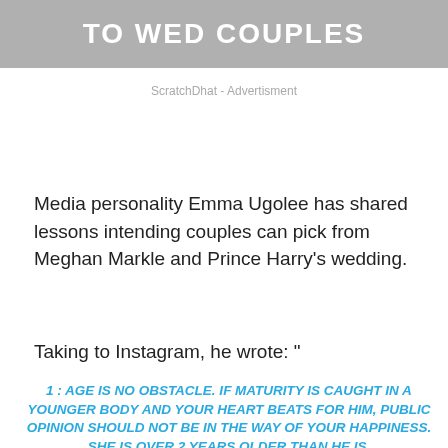[Figure (other): Gray banner with white bold uppercase text reading 'TO WED COUPLES']
ScratchDhat - Advertisment
Media personality Emma Ugolee has shared lessons intending couples can pick from Meghan Markle and Prince Harry's wedding.
Taking to Instagram, he wrote: "
1 : AGE IS NO OBSTACLE. IF MATURITY IS CAUGHT IN A YOUNGER BODY AND YOUR HEART BEATS FOR HIM, PUBLIC OPINION SHOULD NOT BE IN THE WAY OF YOUR HAPPINESS. SHE IS OVER 2 YEARS OLDER THAN HE IS.
2 : A SIMPLE WEDDING WITH CLASS IS NOT A SIGN OF POVERTY OR UNIMPORTANCE. GLOBAL MEDIA GOING